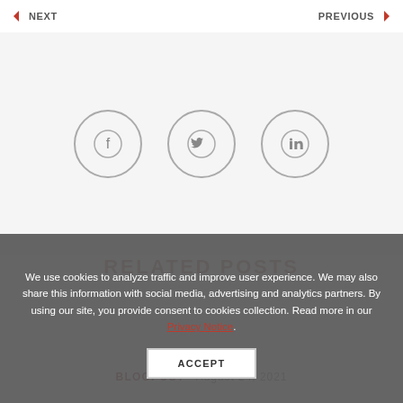NEXT | PREVIOUS
[Figure (infographic): Social share buttons: Facebook, Twitter, LinkedIn circular icon buttons on light grey background]
We use cookies to analyze traffic and improve user experience. We may also share this information with social media, advertising and analytics partners. By using our site, you provide consent to cookies collection. Read more in our Privacy Notice.
ACCEPT
RELATED POSTS
BLOGPOST · August 24, 2021